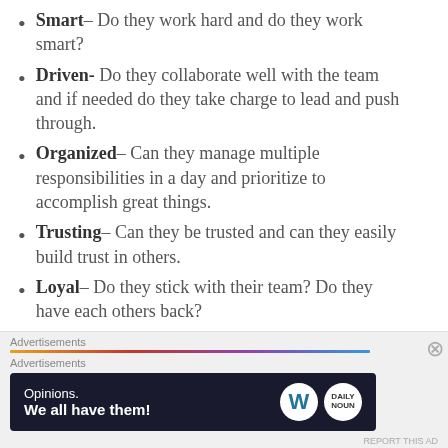Smart– Do they work hard and do they work smart?
Driven- Do they collaborate well with the team and if needed do they take charge to lead and push through.
Organized– Can they manage multiple responsibilities in a day and prioritize to accomplish great things.
Trusting– Can they be trusted and can they easily build trust in others.
Loyal– Do they stick with their team? Do they have each others back?
[Figure (infographic): Advertisement banner with text 'Opinions. We all have them!' with WordPress logo and another logo on dark navy background, preceded by an 'Advertisements' label and a gradient colored bar.]